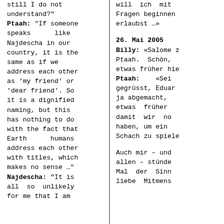still I do not understand?"
Ptaah: "If someone speaks like Najdescha in our country, it is the same as if we address each other as 'my friend' or 'dear friend'. So it is a dignified naming, but this has nothing to do with the fact that Earth humans address each other with titles, which makes no sense …"
Najdescha: "It is all so unlikely for me that I am
will ich mit Fragen beginnen erlaubst …»

26. Mai 2005
Billy: «Salome z Ptaah. Schön, etwas früher hie
Ptaah: «Sei gegrüsst, Eduar ja abgemacht, etwas früher damit wir no haben, um ein Schach zu spiele

Auch mir – und allen – stünde Mal der Sinn liebe Mitmens